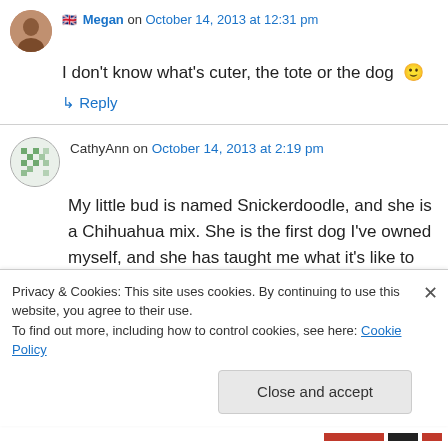🇬🇧 Megan on October 14, 2013 at 12:31 pm
I don't know what's cuter, the tote or the dog 🙂
↳ Reply
CathyAnn on October 14, 2013 at 2:19 pm
My little bud is named Snickerdoodle, and she is a Chihuahua mix. She is the first dog I've owned myself, and she has taught me what it's like to absolutely love an animal. She was rescued
Privacy & Cookies: This site uses cookies. By continuing to use this website, you agree to their use.
To find out more, including how to control cookies, see here: Cookie Policy
Close and accept